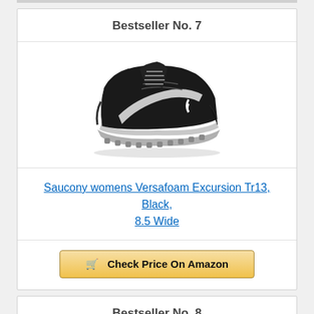Bestseller No. 7
[Figure (photo): Saucony womens Versafoam Excursion Tr13 trail running shoe in black with white Saucony logo, shown from side angle on white background]
Saucony womens Versafoam Excursion Tr13, Black, 8.5 Wide
Check Price On Amazon
Bestseller No. 8